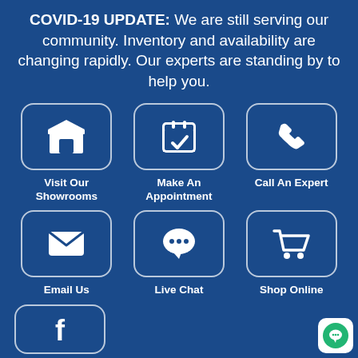COVID-19 UPDATE: We are still serving our community. Inventory and availability are changing rapidly. Our experts are standing by to help you.
[Figure (infographic): Six icon buttons on dark blue background: Visit Our Showrooms (store icon), Make An Appointment (calendar with checkmark), Call An Expert (phone), Email Us (envelope), Live Chat (speech bubble with dots), Shop Online (shopping cart). A partially visible seventh icon at bottom left. Green chat bubble widget in bottom right corner.]